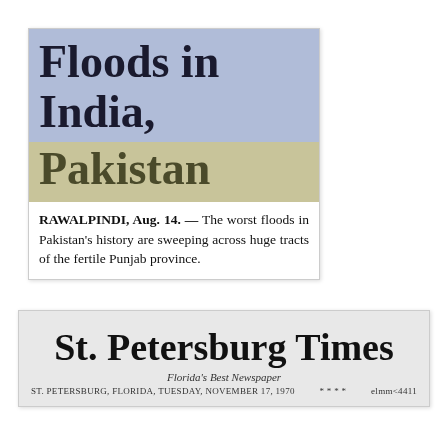Floods in India, Pakistan
RAWALPINDI, Aug. 14. — The worst floods in Pakistan's history are sweeping across huge tracts of the fertile Punjab province.
[Figure (other): St. Petersburg Times newspaper masthead with tagline 'Florida's Best Newspaper' and date 'ST. PETERSBURG, FLORIDA, TUESDAY, NOVEMBER 17, 1970']